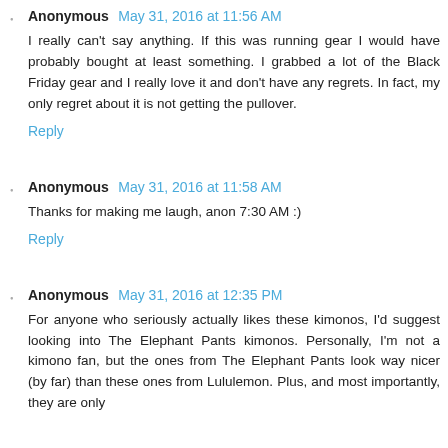Anonymous May 31, 2016 at 11:56 AM
I really can't say anything. If this was running gear I would have probably bought at least something. I grabbed a lot of the Black Friday gear and I really love it and don't have any regrets. In fact, my only regret about it is not getting the pullover.
Reply
Anonymous May 31, 2016 at 11:58 AM
Thanks for making me laugh, anon 7:30 AM :)
Reply
Anonymous May 31, 2016 at 12:35 PM
For anyone who seriously actually likes these kimonos, I'd suggest looking into The Elephant Pants kimonos. Personally, I'm not a kimono fan, but the ones from The Elephant Pants look way nicer (by far) than these ones from Lululemon. Plus, and most importantly, they are only